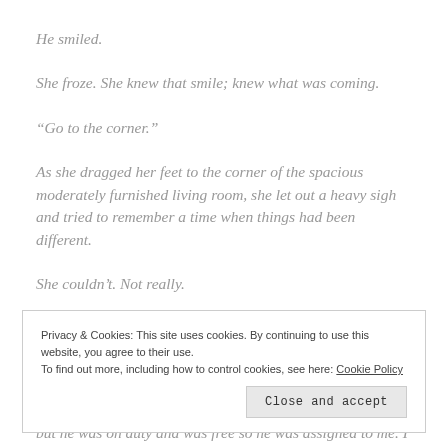He smiled.
She froze. She knew that smile; knew what was coming.
“Go to the corner.”
As she dragged her feet to the corner of the spacious moderately furnished living room, she let out a heavy sigh and tried to remember a time when things had been different.
She couldn’t. Not really.
Privacy & Cookies: This site uses cookies. By continuing to use this website, you agree to their use.
To find out more, including how to control cookies, see here: Cookie Policy
Close and accept
but he was on duty and was free so he was assigned to me. I